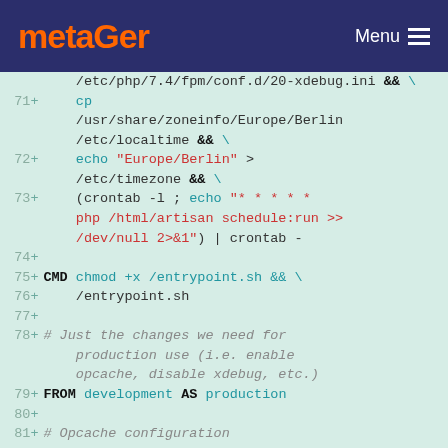metaGer  Menu
[Figure (screenshot): Code diff view showing Dockerfile lines 71-81+, with line numbers, '+' markers, and syntax-highlighted commands including cp, echo, crontab, CMD chmod, FROM development AS production, and comments about production use and Opcache configuration.]